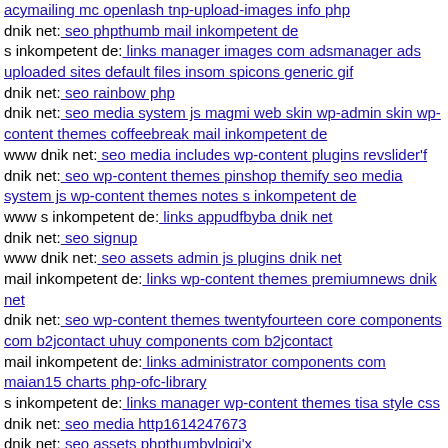acymailing mc openlash tnp-upload-images info php
dnik net: seo phpthumb mail inkompetent de
s inkompetent de: links manager images com adsmanager ads uploaded sites default files insom spicons generic gif
dnik net: seo rainbow php
dnik net: seo media system js magmi web skin wp-admin skin wp-content themes coffeebreak mail inkompetent de
www dnik net: seo media includes wp-content plugins revslider'f
dnik net: seo wp-content themes pinshop themify seo media system js wp-content themes notes s inkompetent de
www s inkompetent de: links appudfbyba dnik net
dnik net: seo signup
www dnik net: seo assets admin js plugins dnik net
mail inkompetent de: links wp-content themes premiumnews dnik net
dnik net: seo wp-content themes twentyfourteen core components com b2jcontact uhuy components com b2jcontact
mail inkompetent de: links administrator components com maian15 charts php-ofc-library
s inkompetent de: links manager wp-content themes tisa style css
dnik net: seo media http1614247673
dnik net: seo assets phpthumbylpigi'x
mail inkompetent de: links wp-content themes agency s inkompetent de
www dnik net: seo vendor phpunit phpunit src git head